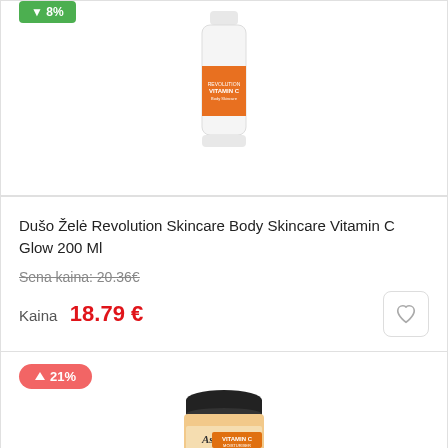[Figure (photo): Product card showing Revolution Skincare Body Vitamin C Glow 200ml shower gel tube with green badge at top left corner]
Dušo Želė Revolution Skincare Body Skincare Vitamin C Glow 200 Ml
Sena kaina: 20.36€
Kaina 18.79 €
[Figure (photo): Product card showing Astrid Vitamin C face cream jar with a red badge showing 21% price increase at top left]